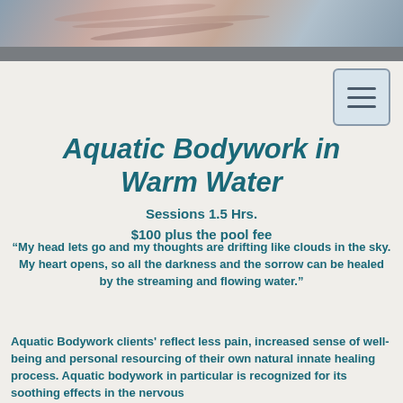[Figure (photo): Header image showing skin or water texture with pinkish and grayish tones, with a dark gray bar beneath]
Aquatic Bodywork in Warm Water
Sessions 1.5 Hrs.
$100 plus the pool fee
“My head lets go and my thoughts are drifting like clouds in the sky. My heart opens, so all the darkness and the sorrow can be healed by the streaming and flowing water.”
Aquatic Bodywork clients' reflect less pain, increased sense of well-being and personal resourcing of their own natural innate healing process. Aquatic bodywork in particular is recognized for its soothing effects in the nervous